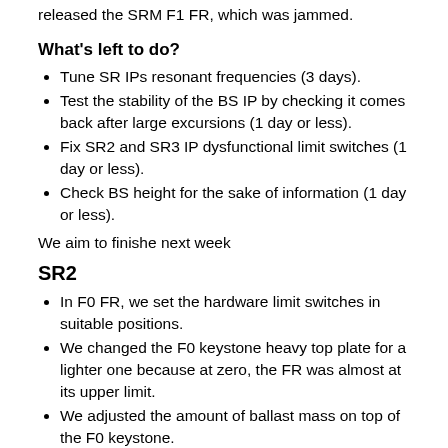released the SRM F1 FR, which was jammed.
What's left to do?
Tune SR IPs resonant frequencies (3 days).
Test the stability of the BS IP by checking it comes back after large excursions (1 day or less).
Fix SR2 and SR3 IP dysfunctional limit switches (1 day or less).
Check BS height for the sake of information (1 day or less).
We aim to finishe next week
SR2
In F0 FR, we set the hardware limit switches in suitable positions.
We changed the F0 keystone heavy top plate for a lighter one because at zero, the FR was almost at its upper limit.
We adjusted the amount of ballast mass on top of the F0 keystone.
At the end we got
Hardware limit switches trigger at: [